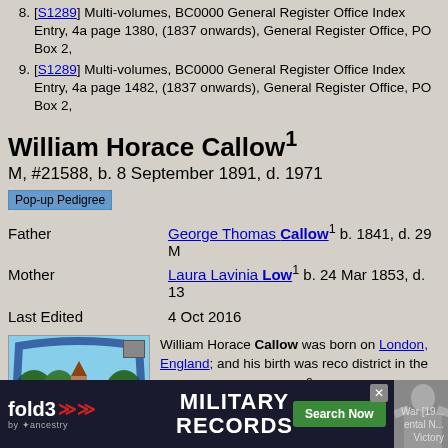8. [S1289] Multi-volumes, BC0000 General Register Office Index Entry, 4a page 1380, (1837 onwards), General Register Office, PO Box 2,
9. [S1289] Multi-volumes, BC0000 General Register Office Index Entry, 4a page 1482, (1837 onwards), General Register Office, PO Box 2,
William Horace Callow¹
M, #21588, b. 8 September 1891, d. 1971
Pop-up Pedigree
Father  George Thomas Callow¹ b. 1841, d. 29 M
Mother  Laura Lavinia Low¹ b. 24 Mar 1853, d. 13
Last Edited  4 Oct 2016
[Figure (photo): Illustrated coat of arms or emblem featuring a church building with a blue decorative border, appearing to be a local authority or parish emblem. Label reads HA...]
William Horace Callow was born on London, England; and his birth was recorded district in the December quarter 1891.² Callow and Laura Lavinia Low.¹ William September 1891 at St Mark, Shoreditch on the census of 31 March 1901 at Sea Essex, England, as Willis, Son, age10,
[Figure (advertisement): Fold3 Military Records advertisement banner with Search Now button and soldier photo. Text: MILITARY RECORDS, War [19..., ental N..., Victory]